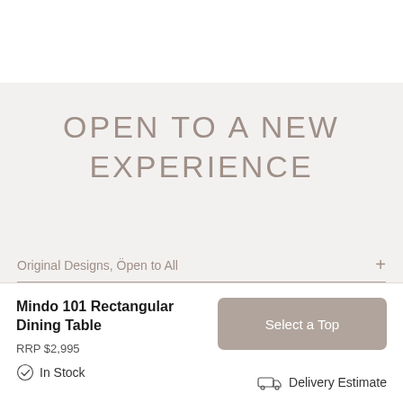OPEN TO A NEW EXPERIENCE
Original Designs, Öpen to All
Mindo 101 Rectangular Dining Table
RRP $2,995
In Stock
Select a Top
Delivery Estimate